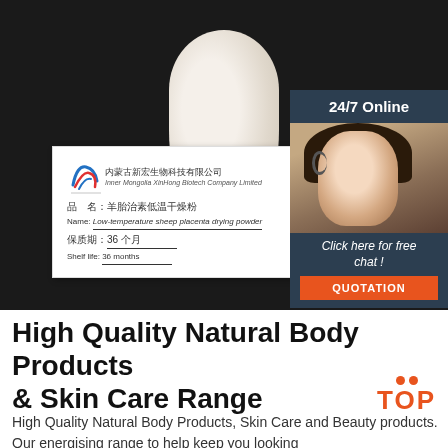[Figure (photo): Product photo of white/cream powder in a conical glass flask on dark background, with a white product label card from Inner Mongolia XinHong Biotech Company Limited showing Chinese and English text for low-temperature sheep placenta drying powder, shelf life 36 months. An overlaid chat widget in the top-right shows '24/7 Online', a customer service representative wearing a headset, 'Click here for free chat!' text, and an orange QUOTATION button.]
High Quality Natural Body Products & Skin Care Range
High Quality Natural Body Products, Skin Care and Beauty products. Our energising range to help keep you looking